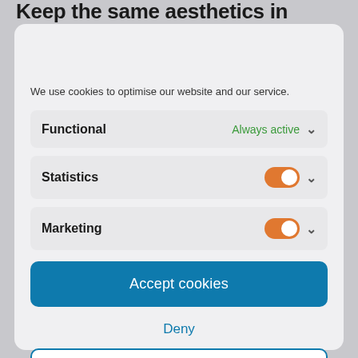Keep the same aesthetics in areas where
We use cookies to optimise our website and our service.
Functional — Always active
Statistics — toggle on
Marketing — toggle on
Accept cookies
Deny
Save preferences
PRIVACY POLICY